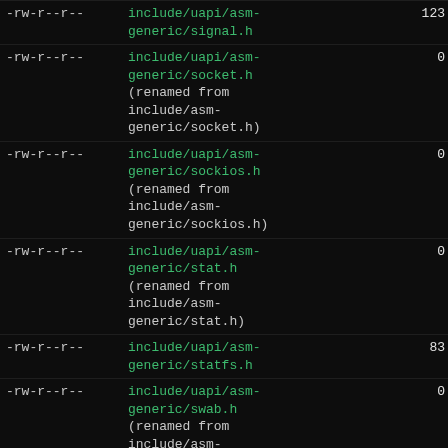| permissions | filename | size |  |
| --- | --- | --- | --- |
| -rw-r--r-- | include/uapi/asm-generic/signal.h | 123 | l |
| -rw-r--r-- | include/uapi/asm-generic/socket.h
(renamed from include/asm-generic/socket.h) | 0 |  |
| -rw-r--r-- | include/uapi/asm-generic/sockios.h
(renamed from include/asm-generic/sockios.h) | 0 |  |
| -rw-r--r-- | include/uapi/asm-generic/stat.h
(renamed from include/asm-generic/stat.h) | 0 |  |
| -rw-r--r-- | include/uapi/asm-generic/statfs.h | 83 | l |
| -rw-r--r-- | include/uapi/asm-generic/swab.h
(renamed from include/asm-generic/swab.h) | 0 |  |
| -rw-r--r-- | include/uapi/asm-generic/termbits.h
(renamed from include/asm-generic/termbits.h) | 0 |  |